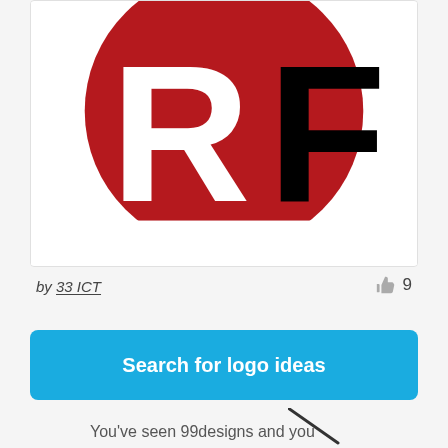[Figure (logo): RF logo: large red circle with white R and black F letters on white card background]
by 33 ICT
9
Search for logo ideas
You've seen 99designs and you still want another slice?